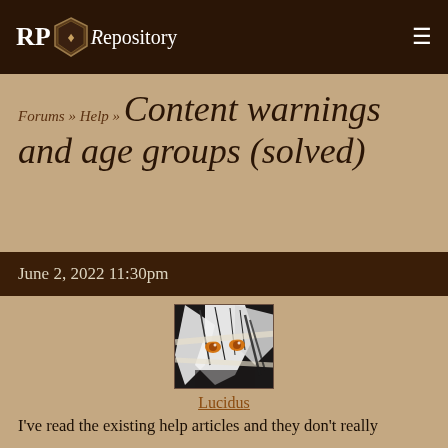RP Repository
Forums » Help » Content warnings and age groups (solved)
June 2, 2022 11:30pm
[Figure (illustration): Anime-style avatar image showing a character with white hair and orange eyes, partially obscured by bandages or wrappings, with dark background elements.]
Lucidus
I've read the existing help articles and they don't really